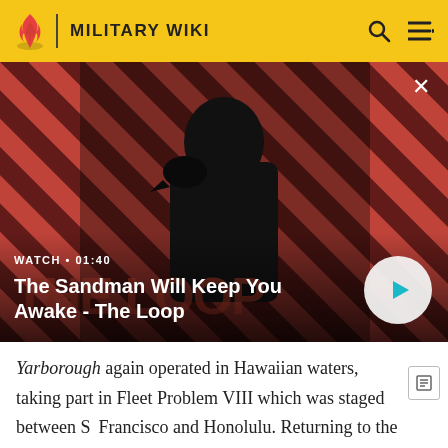MILITARY WIKI
[Figure (screenshot): Video thumbnail showing a dark-clothed figure with a raven on shoulder against a red and black diagonal striped background. Text overlay: WATCH · 01:40, The Sandman Will Keep You Awake - The Loop. Play button visible.]
Yarborough again operated in Hawaiian waters, taking part in Fleet Problem VIII which was staged between San Francisco and Honolulu. Returning to the west coast upon completion of that group of maneuvers, the destroyer continued her regular schedule of operations in tactics